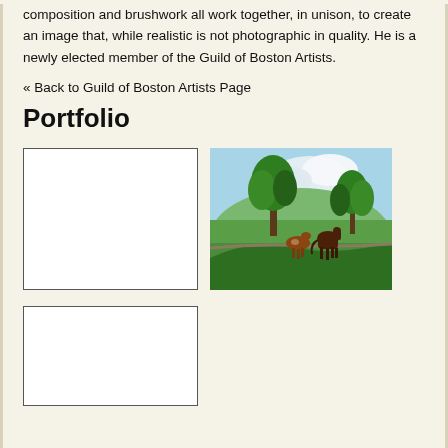composition and brushwork all work together, in unison, to create an image that, while realistic is not photographic in quality. He is a newly elected member of the Guild of Boston Artists.
« Back to Guild of Boston Artists Page
Portfolio
[Figure (illustration): Empty white placeholder box with border (first portfolio image, no image loaded)]
[Figure (illustration): Painting of two horses (one brown with white markings, one dark brown) standing on a green hillside with trees in the background and a partly cloudy sky]
[Figure (illustration): Empty white placeholder box with border (third portfolio image, no image loaded)]